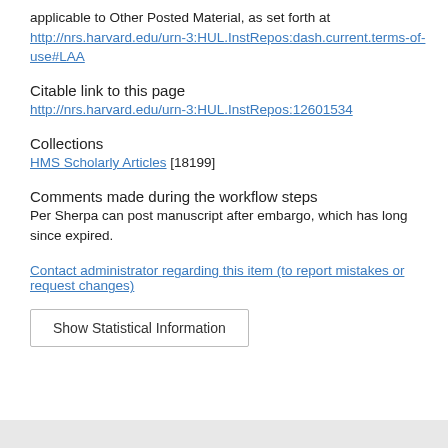applicable to Other Posted Material, as set forth at http://nrs.harvard.edu/urn-3:HUL.InstRepos:dash.current.terms-of-use#LAA
Citable link to this page
http://nrs.harvard.edu/urn-3:HUL.InstRepos:12601534
Collections
HMS Scholarly Articles [18199]
Comments made during the workflow steps
Per Sherpa can post manuscript after embargo, which has long since expired.
Contact administrator regarding this item (to report mistakes or request changes)
Show Statistical Information